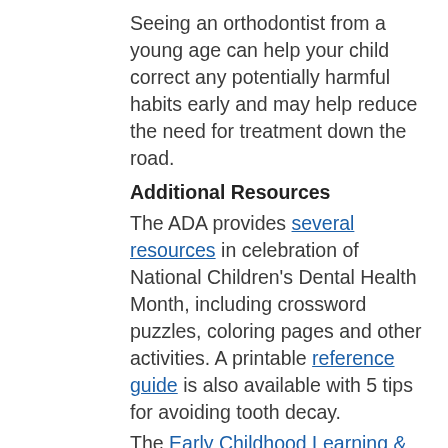Seeing an orthodontist from a young age can help your child correct any potentially harmful habits early and may help reduce the need for treatment down the road.
Additional Resources
The ADA provides several resources in celebration of National Children's Dental Health Month, including crossword puzzles, coloring pages and other activities. A printable reference guide is also available with 5 tips for avoiding tooth decay.
The Early Childhood Learning & Knowledge Center, part of the U.S. Department of Health & Human Services, provides a number of resources for oral health. These include healthy recipes, oral hygiene tips, and